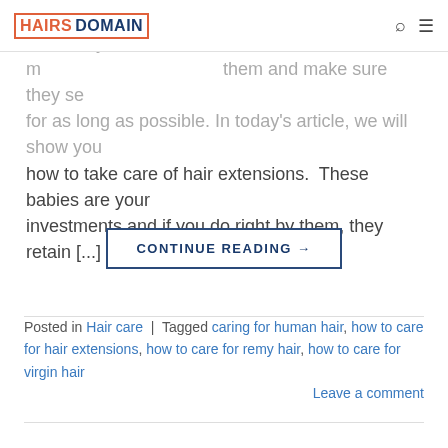HAIRS DOMAIN
Quality hair extensions can cost a pretty penny. So, it only makes sense to care for them and make sure they serve you for as long as possible. In today's article, we will show you how to take care of hair extensions.  These babies are your investments and if you do right by them, they retain [...]
CONTINUE READING →
Posted in Hair care | Tagged caring for human hair, how to care for hair extensions, how to care for remy hair, how to care for virgin hair
Leave a comment
[Figure (photo): Two dark rounded hat/wig thumbnails partially visible at bottom of page, with a page number box showing '01']